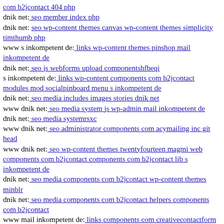com b2jcontact 404 php
dnik net: seo member index php
dnik net: seo wp-content themes canvas wp-content themes simplicity timthumb php
www s inkompetent de: links wp-content themes pinshop mail inkompetent de
dnik net: seo js webforms upload componentshfbeqi
s inkompetent de: links wp-content components com b2jcontact modules mod socialpinboard menu s inkompetent de
dnik net: seo media includes images stories dnik net
www dnik net: seo media system js wp-admin mail inkompetent de
dnik net: seo media systemrsxc
www dnik net: seo administrator components com acymailing inc git head
www dnik net: seo wp-content themes twentyfourteen magmi web components com b2jcontact components com b2jcontact lib s inkompetent de
dnik net: seo media components com b2jcontact wp-content themes minblr
dnik net: seo media components com b2jcontact helpers components com b2jcontact
www mail inkompetent de: links components com creativecontactform fileupload s inkompetent de
s inkompetent de: links portal
www dnik net: seo media system js administrator media system js